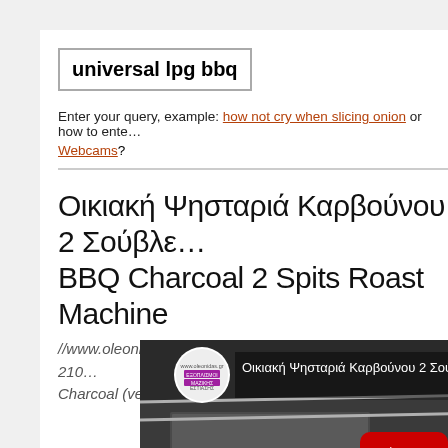universal lpg bbq
Enter your query, example: how not cry when slicing onion or how to ente…
Webcams?
Οικιακή Ψησταριά Καρβούνου 2 Σούβλε… BBQ Charcoal 2 Spits Roast Machine
//www.oleonidas.gr - email: info@oleonidas.gr Tel: 0030 210… Charcoal (vertical axle) 2 Spits Roast machine ...
[Figure (screenshot): YouTube video thumbnail showing a BBQ charcoal roast machine with two spits, with the video title 'Οικιακή Ψησταριά Καρβούνου 2 Σού…' and a YouTube play button overlay.]